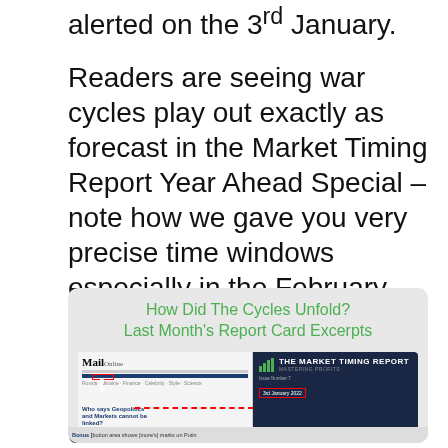alerted on the 3rd January.
Readers are seeing war cycles play out exactly as forecast in the Market Timing Report Year Ahead Special – note how we gave you very precise time windows especially in the February report. February 24th was one of the key dates and this was the day that Russia has entered into the Ukraine.
[Figure (screenshot): Card with green header text 'How Did The Cycles Unfold? Last Month's Report Card Excerpts' over a light grey background, containing a composite screenshot showing a MailOnline webpage on the left with a red box highlight and arrow, and 'THE MARKET TIMING REPORT' dark blue branded panel on the right with a red box highlight, connected by a dashed red arrow.]